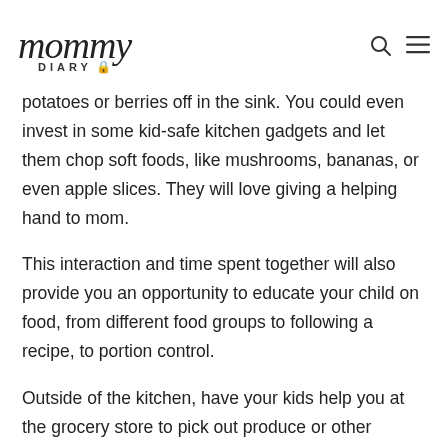mommy DIARY
potatoes or berries off in the sink. You could even invest in some kid-safe kitchen gadgets and let them chop soft foods, like mushrooms, bananas, or even apple slices. They will love giving a helping hand to mom.
This interaction and time spent together will also provide you an opportunity to educate your child on food, from different food groups to following a recipe, to portion control.
Outside of the kitchen, have your kids help you at the grocery store to pick out produce or other